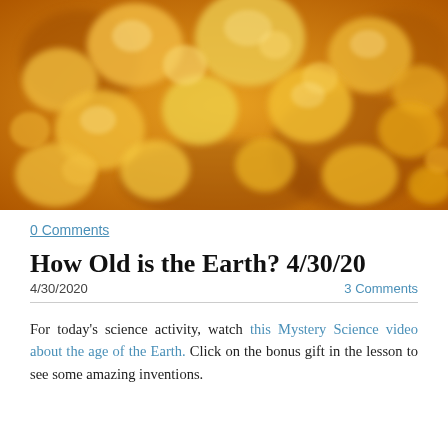[Figure (photo): Close-up macro photograph of golden/amber-colored bubbly organic material, resembling molten rock or microbial growth under orange-golden lighting]
0 Comments
How Old is the Earth? 4/30/20
4/30/2020    3 Comments
For today's science activity, watch this Mystery Science video about the age of the Earth. Click on the bonus gift in the lesson to see some amazing inventions.